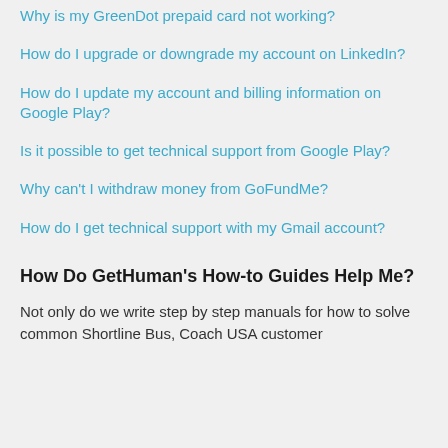Why is my GreenDot prepaid card not working?
How do I upgrade or downgrade my account on LinkedIn?
How do I update my account and billing information on Google Play?
Is it possible to get technical support from Google Play?
Why can't I withdraw money from GoFundMe?
How do I get technical support with my Gmail account?
How Do GetHuman's How-to Guides Help Me?
Not only do we write step by step manuals for how to solve common Shortline Bus, Coach USA customer